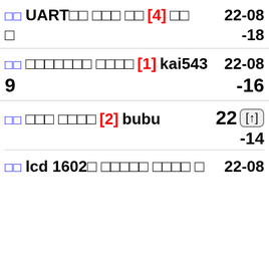□□ UART□□ □□□ □□ [4] □□  22-08
□  -18
□□ □□□□□□□ □□□□ [1] kai5439  22-08-16
□□ □□□ □□□□ [2] bubu  22-□□
-14
□□ lcd 1602□ □□□□□ □□□□ □  22-08